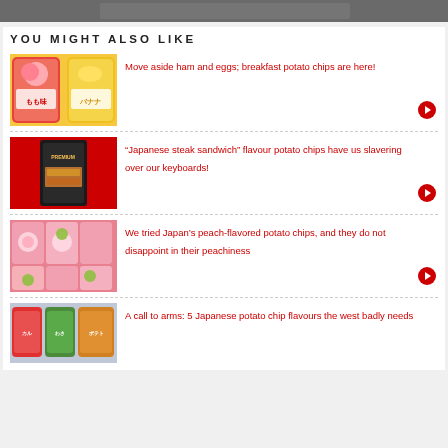[Figure (photo): Top banner image, partially visible, dark/muted tones]
You might also like
[Figure (photo): Two bags of potato chips with Japanese text, peach and banana flavors]
Move aside ham and eggs; breakfast potato chips are here!
[Figure (photo): Black bag of premium potato chips with Japanese steak sandwich flavor on red background]
“Japanese steak sandwich” flavour potato chips have us slavering over our keyboards!
[Figure (photo): Multiple bags of peach-flavored potato chips arranged together]
We tried Japan’s peach-flavored potato chips, and they do not disappoint in their peachiness
[Figure (photo): Several bags of Japanese potato chips in various flavors]
A call to arms: 5 Japanese potato chip flavours the west badly needs